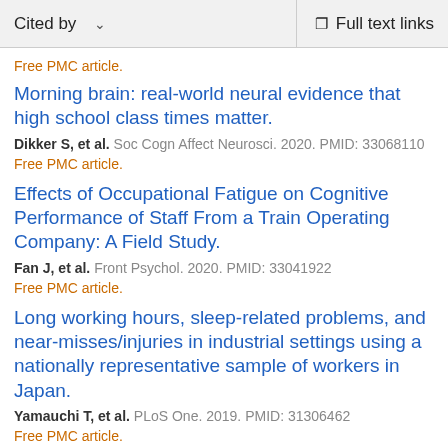Cited by   Full text links
Free PMC article.
Morning brain: real-world neural evidence that high school class times matter.
Dikker S, et al. Soc Cogn Affect Neurosci. 2020. PMID: 33068110
Free PMC article.
Effects of Occupational Fatigue on Cognitive Performance of Staff From a Train Operating Company: A Field Study.
Fan J, et al. Front Psychol. 2020. PMID: 33041922
Free PMC article.
Long working hours, sleep-related problems, and near-misses/injuries in industrial settings using a nationally representative sample of workers in Japan.
Yamauchi T, et al. PLoS One. 2019. PMID: 31306462
Free PMC article.